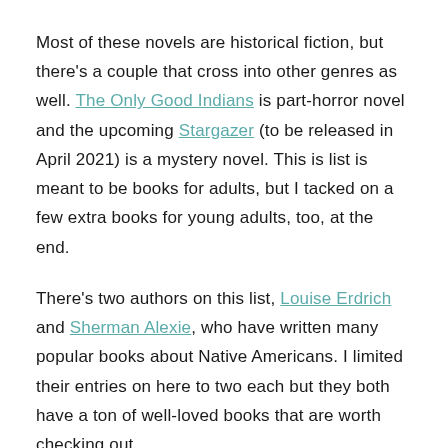Most of these novels are historical fiction, but there's a couple that cross into other genres as well. The Only Good Indians is part-horror novel and the upcoming Stargazer (to be released in April 2021) is a mystery novel. This is list is meant to be books for adults, but I tacked on a few extra books for young adults, too, at the end.
There's two authors on this list, Louise Erdrich and Sherman Alexie, who have written many popular books about Native Americans. I limited their entries on here to two each but they both have a ton of well-loved books that are worth checking out.